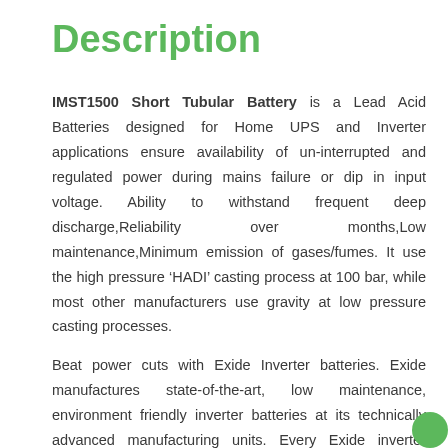Description
IMST1500 Short Tubular Battery is a Lead Acid Batteries designed for Home UPS and Inverter applications ensure availability of un-interrupted and regulated power during mains failure or dip in input voltage. Ability to withstand frequent deep discharge,Reliability over months,Low maintenance,Minimum emission of gases/fumes. It use the high pressure ‘HADI’ casting process at 100 bar, while most other manufacturers use gravity at low pressure casting processes.
Beat power cuts with Exide Inverter batteries. Exide manufactures state-of-the-art, low maintenance, environment friendly inverter batteries at its technically advanced manufacturing units. Every Exide inverter battery has the ability to withstand frequent discharge